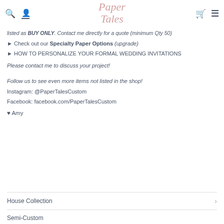Paper Tales
listed as BUY ONLY. Contact me directly for a quote (minimum Qty 50)
► Check out our Specialty Paper Options (upgrade)
► HOW TO PERSONALIZE YOUR FORMAL WEDDING INVITATIONS
Please contact me to discuss your project!
Follow us to see even more items not listed in the shop!
Instagram: @PaperTalesCustom
Facebook: facebook.com/PaperTalesCustom
♥ Amy
House Collection
Semi-Custom